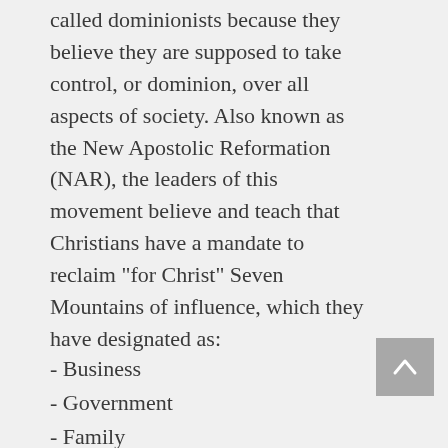called dominionists because they believe they are supposed to take control, or dominion, over all aspects of society. Also known as the New Apostolic Reformation (NAR), the leaders of this movement believe and teach that Christians have a mandate to reclaim "for Christ" Seven Mountains of influence, which they have designated as:
- Business
- Government
- Family
- Religion
- Medi...